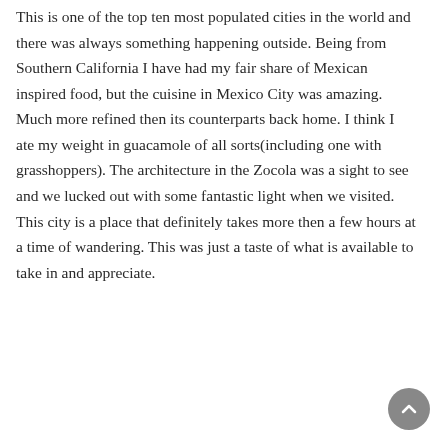This is one of the top ten most populated cities in the world and there was always something happening outside. Being from Southern California I have had my fair share of Mexican inspired food, but the cuisine in Mexico City was amazing. Much more refined then its counterparts back home. I think I ate my weight in guacamole of all sorts(including one with grasshoppers). The architecture in the Zocola was a sight to see and we lucked out with some fantastic light when we visited. This city is a place that definitely takes more then a few hours at a time of wandering. This was just a taste of what is available to take in and appreciate.